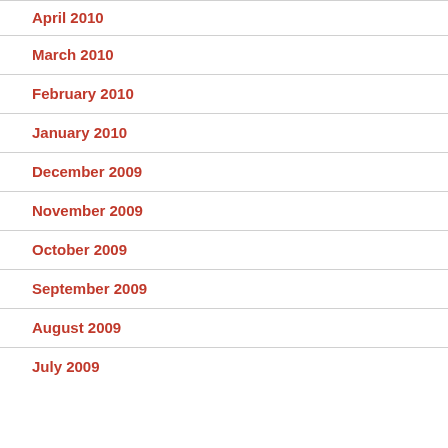April 2010
March 2010
February 2010
January 2010
December 2009
November 2009
October 2009
September 2009
August 2009
July 2009